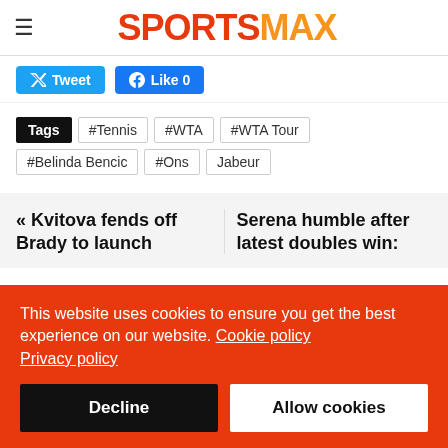SPORTSMAX
[Figure (other): Tweet and Like 0 social sharing buttons]
Tags  #Tennis  #WTA  #WTA Tour  #Belinda Bencic  #Ons Jabeur
« Kvitova fends off Brady to launch
Serena humble after latest doubles win:
This website uses cookies to ensure you get the best experience on our website. Cookie policy Privacy policy
Decline  Allow cookies